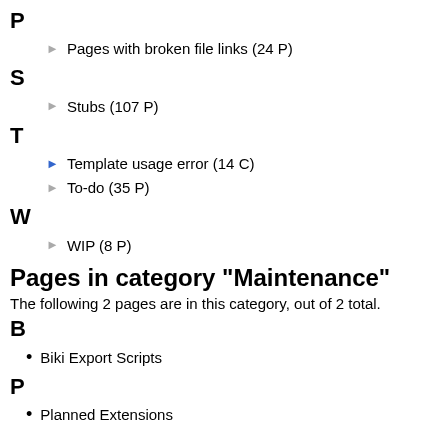P
Pages with broken file links (24 P)
S
Stubs (107 P)
T
Template usage error (14 C)
To-do (35 P)
W
WIP (8 P)
Pages in category "Maintenance"
The following 2 pages are in this category, out of 2 total.
B
Biki Export Scripts
P
Planned Extensions